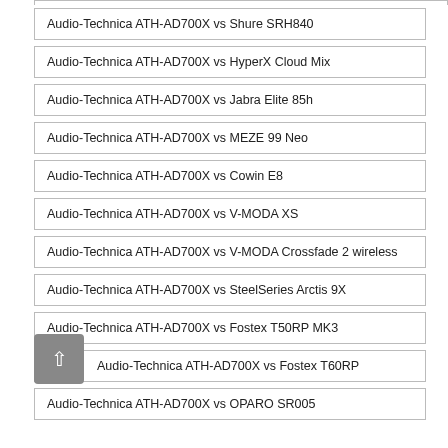Audio-Technica ATH-AD700X vs Shure SRH840
Audio-Technica ATH-AD700X vs HyperX Cloud Mix
Audio-Technica ATH-AD700X vs Jabra Elite 85h
Audio-Technica ATH-AD700X vs MEZE 99 Neo
Audio-Technica ATH-AD700X vs Cowin E8
Audio-Technica ATH-AD700X vs V-MODA XS
Audio-Technica ATH-AD700X vs V-MODA Crossfade 2 wireless
Audio-Technica ATH-AD700X vs SteelSeries Arctis 9X
Audio-Technica ATH-AD700X vs Fostex T50RP MK3
Audio-Technica ATH-AD700X vs Fostex T60RP
Audio-Technica ATH-AD700X vs OPARO SR005